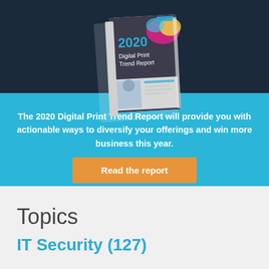[Figure (illustration): Promotional banner showing the 2020 Digital Print Trend Report booklet/brochure cover displayed on a dark teal background fading into cyan blue. The booklet shows colorful splashes and product images.]
The 2020 Digital Print Trend Report will provide you with actionable ways to diversify your offerings and win more business this year.
Read the report
Topics
IT Security (127)